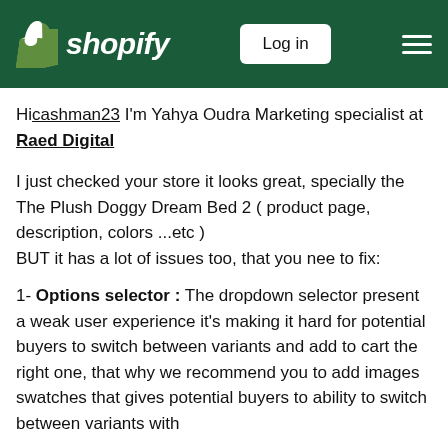Shopify — Log in
Hi cashman23 I'm Yahya Oudra Marketing specialist at Raed Digital
I just checked your store it looks great, specially the The Plush Doggy Dream Bed 2 ( product page, description, colors ...etc )
BUT it has a lot of issues too, that you nee to fix:
1- Options selector : The dropdown selector present a weak user experience it's making it hard for potential buyers to switch between variants and add to cart the right one, that why we recommend you to add images swatches that gives potential buyers to ability to switch between variants with